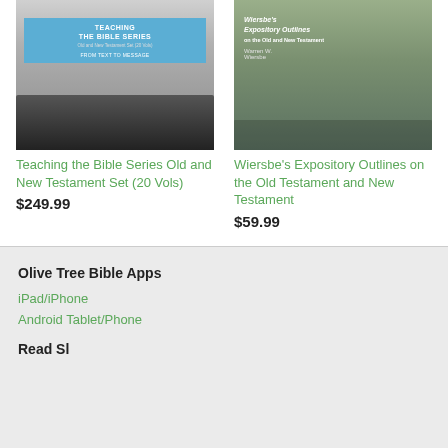[Figure (photo): Book cover: Teaching the Bible Series Old and New Testament Set]
Teaching the Bible Series Old and New Testament Set (20 Vols)
$249.99
[Figure (photo): Book cover: Wiersbe's Expository Outlines on the Old and New Testament]
Wiersbe's Expository Outlines on the Old Testament and New Testament
$59.99
Olive Tree Bible Apps
iPad/iPhone
Android Tablet/Phone
Read Sl...